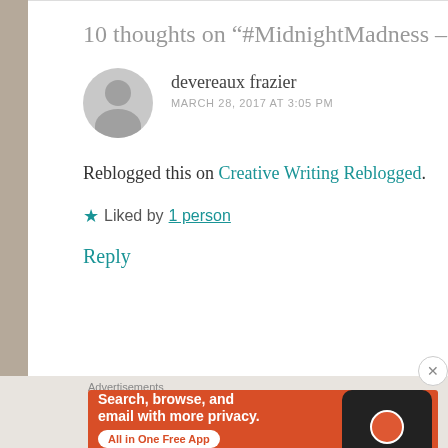10 thoughts on "#MidnightMadness – 3/09/2017"
devereaux frazier
MARCH 28, 2017 AT 3:05 PM
Reblogged this on Creative Writing Reblogged.
★ Liked by 1 person
Reply
[Figure (screenshot): DuckDuckGo advertisement banner: orange background with text 'Search, browse, and email with more privacy. All in One Free App' and DuckDuckGo logo on a phone mockup]